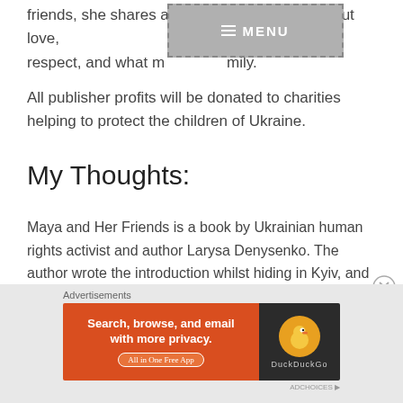friends, she shares an important message about love, respect, and what makes a family.
All publisher profits will be donated to charities helping to protect the children of Ukraine.
My Thoughts:
Maya and Her Friends is a book by Ukrainian human rights activist and author Larysa Denysenko. The author wrote the introduction whilst hiding in Kyiv, and the book itself is a beautiful story about acceptance and tolerance in a country deeply affected by conflict.
[Figure (screenshot): Advertisement banner: DuckDuckGo 'Search, browse, and email with more privacy. All in One Free App' with orange background and duck logo on dark background]
Advertisements